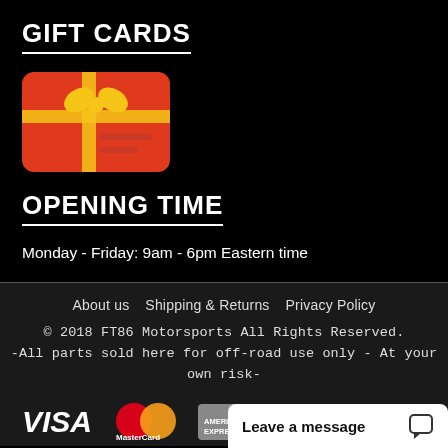GIFT CARDS
[Figure (illustration): Red gift card icon with yellow bow and horizontal lines]
OPENING TIME
Monday - Friday: 9am - 6pm Eastern time
About us   Shipping & Returns   Privacy Policy
© 2018 FT86 Motorsports All Rights Reserved.
-All parts sold here for off-road use only - At your own risk-
[Figure (logo): Payment logos: VISA, MasterCard, American Express, PayPal]
Leave a message